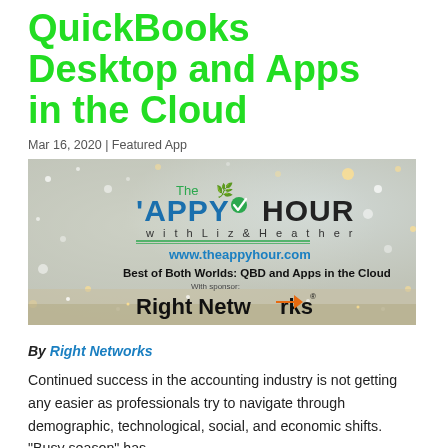QuickBooks Desktop and Apps in the Cloud
Mar 16, 2020 | Featured App
[Figure (illustration): The 'Appy Hour with Liz & Heather podcast banner. Text: 'Best of Both Worlds: QBD and Apps in the Cloud' with sponsor Right Networks logo. Background is bokeh/glitter lights.]
By Right Networks
Continued success in the accounting industry is not getting any easier as professionals try to navigate through demographic, technological, social, and economic shifts. "Busy season" has